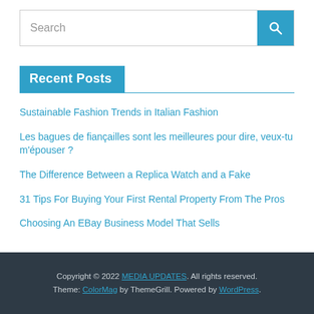[Figure (other): Search bar with text input field and blue search button with magnifying glass icon]
Recent Posts
Sustainable Fashion Trends in Italian Fashion
Les bagues de fiançailles sont les meilleures pour dire, veux-tu m'épouser ?
The Difference Between a Replica Watch and a Fake
31 Tips For Buying Your First Rental Property From The Pros
Choosing An EBay Business Model That Sells
Copyright © 2022 MEDIA UPDATES. All rights reserved. Theme: ColorMag by ThemeGrill. Powered by WordPress.